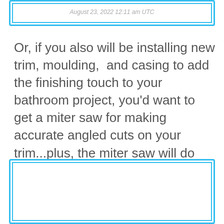August 23, 2022 12:11 am UTC
Or, if you also will be installing new trim, moulding,  and casing to add the finishing touch to your bathroom project, you'd want to get a miter saw for making accurate angled cuts on your trim...plus, the miter saw will do most of cutting you would need the circular saw for as well!
[Figure (other): Empty bordered box (comment/ad placeholder)]